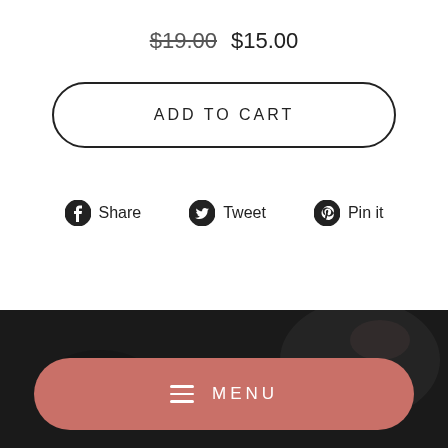$19.00  $15.00
ADD TO CART
Share  Tweet  Pin it
MENU